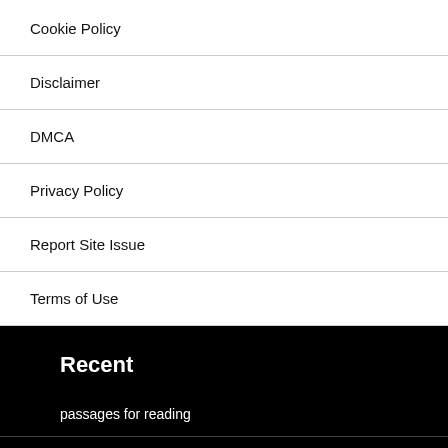Cookie Policy
Disclaimer
DMCA
Privacy Policy
Report Site Issue
Terms of Use
Recent
passages for reading
алфавит трафареты для вырезания из бумаги
colour for kids
сорбонки умножение